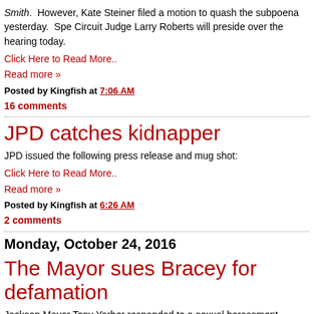Smith. However, Kate Steiner filed a motion to quash the subpoena yesterday. Spe Circuit Judge Larry Roberts will preside over the hearing today.
Click Here to Read More..
Read more »
Posted by Kingfish at 7:06 AM
16 comments
JPD catches kidnapper
JPD issued the following press release and mug shot:
Click Here to Read More..
Read more »
Posted by Kingfish at 6:26 AM
2 comments
Monday, October 24, 2016
The Mayor sues Bracey for defamation
Jackson Mayor Tony Yarber responded to a sexual harassment lawsuit with both bar blazing today. Mayor Yarber answered Kimberly Bracey's federal complaint and the counterclaim against her for defamation. Mrs. Bracey was Mayor Yarber's executive and is married to Santore Bracey.
Click Here to Read More..
Read more »